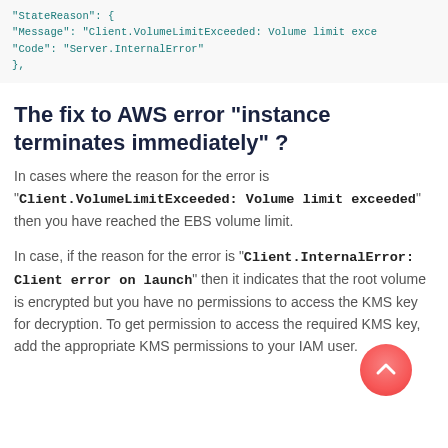"StateReason": {
"Message": "Client.VolumeLimitExceeded: Volume limit exce
"Code": "Server.InternalError"
},
The fix to AWS error "instance terminates immediately" ?
In cases where the reason for the error is "Client.VolumeLimitExceeded: Volume limit exceeded" then you have reached the EBS volume limit.
In case, if the reason for the error is "Client.InternalError: Client error on launch" then it indicates that the root volume is encrypted but you have no permissions to access the KMS key for decryption. To get permission to access the required KMS key, add the appropriate KMS permissions to your IAM user.